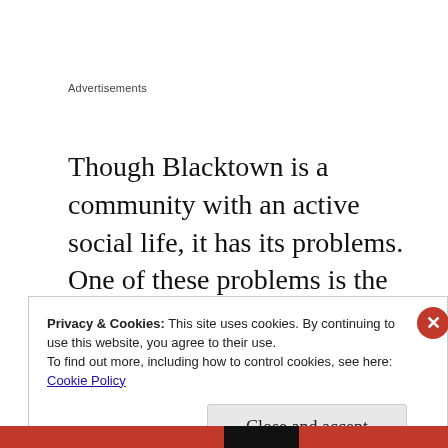Advertisements
Though Blacktown is a community with an active social life, it has its problems. One of these problems is the presence of pests and vermin, responsible for spreading disease and causing the death of hundreds of people.
Privacy & Cookies: This site uses cookies. By continuing to use this website, you agree to their use.
To find out more, including how to control cookies, see here:
Cookie Policy

Close and accept